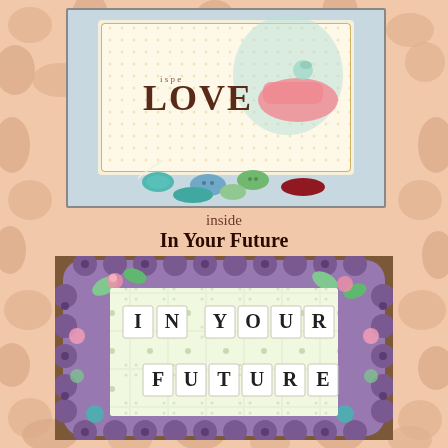[Figure (photo): Top craft card photo showing a decorative shadow box with 'LOVE' text, fairy/bird illustration, pink shoe, and scattered colorful buttons on a white/cream background]
inside
In Your Future
[Figure (photo): Bottom craft card photo showing a decorative scrapbook frame with floral purple pattern and scalloped edges, containing letter tiles spelling 'IN YOUR FUTURE' on a dotted patterned background]